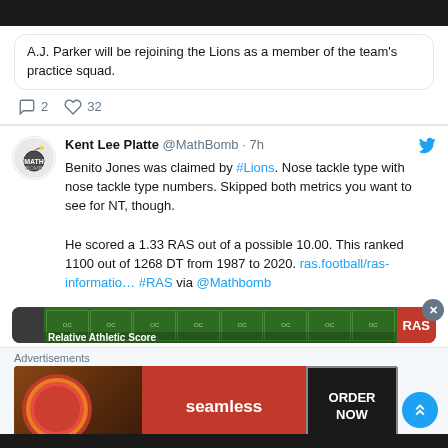A.J. Parker will be rejoining the Lions as a member of the team's practice squad.
2 comments, 32 likes
Kent Lee Platte @MathBomb · 7h
Benito Jones was claimed by #Lions. Nose tackle type with nose tackle type numbers. Skipped both metrics you want to see for NT, though.

He scored a 1.33 RAS out of a possible 10.00. This ranked 1100 out of 1268 DT from 1987 to 2020. ras.football/ras-informatio… #RAS via @Mathbomb
[Figure (screenshot): Relative Athletic Score card partial view]
Advertisements
[Figure (photo): Seamless food delivery advertisement with pizza photo and ORDER NOW button]